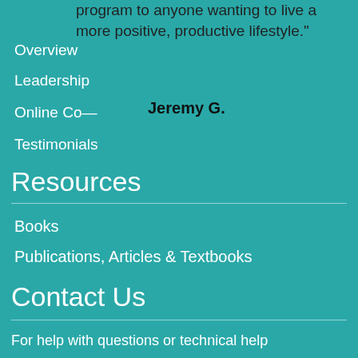program to anyone wanting to live a more positive, productive lifestyle."
Overview
Leadership
Online Co—
Jeremy G.
Testimonials
Resources
Books
Publications, Articles & Textbooks
Contact Us
For help with questions or technical help